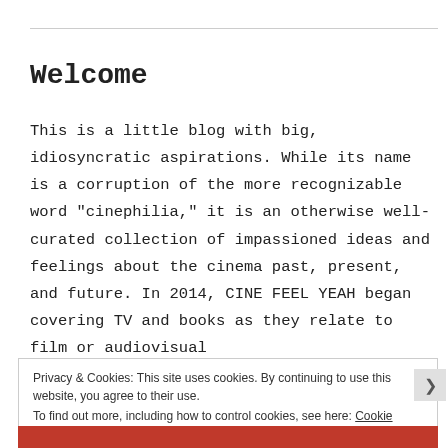Welcome
This is a little blog with big, idiosyncratic aspirations. While its name is a corruption of the more recognizable word "cinephilia," it is an otherwise well-curated collection of impassioned ideas and feelings about the cinema past, present, and future. In 2014, CINE FEEL YEAH began covering TV and books as they relate to film or audiovisual
Privacy & Cookies: This site uses cookies. By continuing to use this website, you agree to their use.
To find out more, including how to control cookies, see here: Cookie Policy
Close and accept